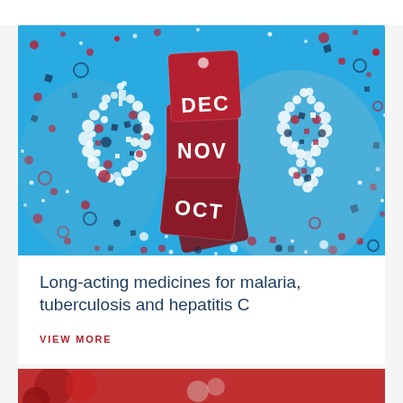[Figure (illustration): Colorful medical illustration on teal/blue background featuring: a mosaic lungs icon made of dots and squares on the left, stacked dark red calendar/price tags labeled DEC, NOV, OCT in the center, and a decorative awareness ribbon made of multicolored dots and squares on the right. Background scattered with red, dark blue, and white dots and shapes.]
Long-acting medicines for malaria, tuberculosis and hepatitis C
VIEW MORE
[Figure (photo): Partial bottom strip showing a red-toned image (partially visible)]